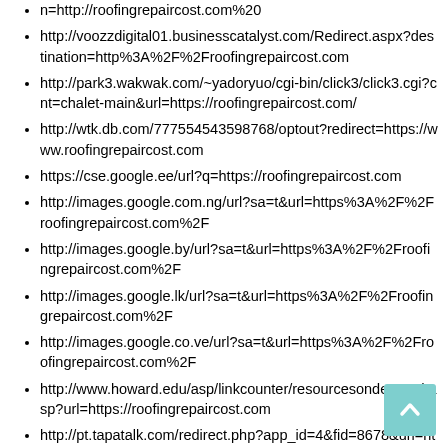n=http://roofingrepaircost.com%20
http://voozzdigital01.businesscatalyst.com/Redirect.aspx?destination=http%3A%2F%2Froofingrepaircost.com
http://park3.wakwak.com/~yadoryuo/cgi-bin/click3/click3.cgi?cnt=chalet-main&url=https://roofingrepaircost.com/
http://wtk.db.com/777554543598768/optout?redirect=https://www.roofingrepaircost.com
https://cse.google.ee/url?q=https://roofingrepaircost.com
http://images.google.com.ng/url?sa=t&url=https%3A%2F%2Froofingrepaircost.com%2F
http://images.google.by/url?sa=t&url=https%3A%2F%2Froofingrepaircost.com%2F
http://images.google.lk/url?sa=t&url=https%3A%2F%2Froofingrepaircost.com%2F
http://images.google.co.ve/url?sa=t&url=https%3A%2F%2Froofingrepaircost.com%2F
http://www.howard.edu/asp/linkcounter/resourcesondemand.asp?url=https://roofingrepaircost.com
http://pt.tapatalk.com/redirect.php?app_id=4&fid=8678&url=http://roofingrepaircost.com
http://images.google.com.ec/url?